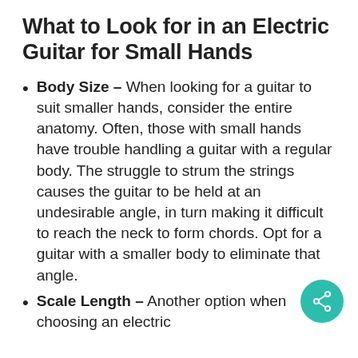What to Look for in an Electric Guitar for Small Hands
Body Size – When looking for a guitar to suit smaller hands, consider the entire anatomy. Often, those with small hands have trouble handling a guitar with a regular body. The struggle to strum the strings causes the guitar to be held at an undesirable angle, in turn making it difficult to reach the neck to form chords. Opt for a guitar with a smaller body to eliminate that angle.
Scale Length – Another option when choosing an electric...